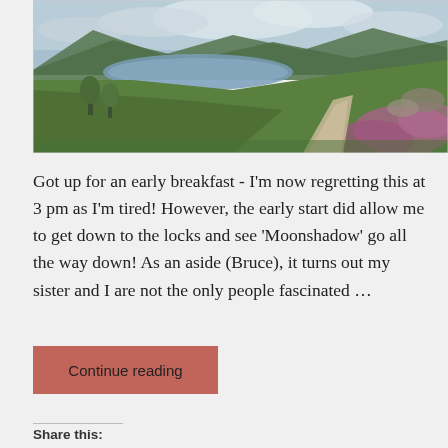[Figure (photo): Scenic highland landscape with a footpath running through heather and green hillside, with a loch visible in the background under a cloudy sky.]
Got up for an early breakfast - I'm now regretting this at 3 pm as I'm tired! However, the early start did allow me to get down to the locks and see 'Moonshadow' go all the way down! As an aside (Bruce), it turns out my sister and I are not the only people fascinated …
Continue reading
Share this: